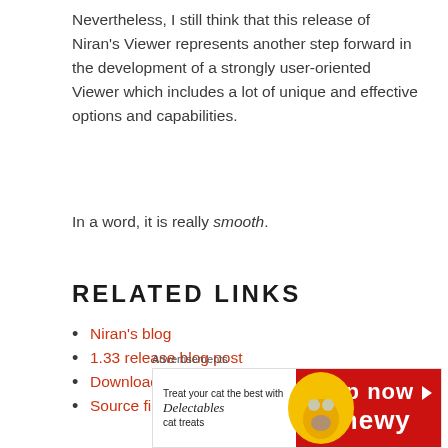Nevertheless, I still think that this release of Niran's Viewer represents another step forward in the development of a strongly user-oriented Viewer which includes a lot of unique and effective options and capabilities.
In a word, it is really smooth.
RELATED LINKS
Niran's blog
1.33 release blog post
Download page
Source files
[Figure (illustration): Advertisement banner for Chewy pet treats (Delectables cat treats). Left side shows cat image with yellow arc on white background. Right side is red with 'Shop now' and 'chewy' logo in white text.]